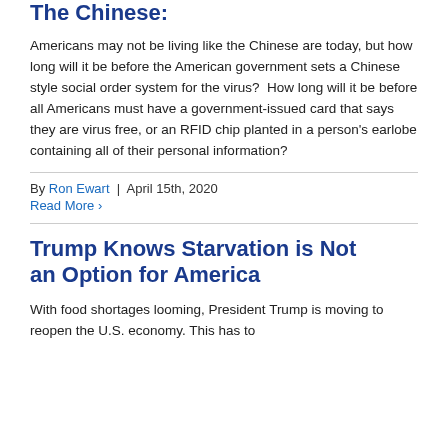The Chinese:
Americans may not be living like the Chinese are today, but how long will it be before the American government sets a Chinese style social order system for the virus?  How long will it be before all Americans must have a government-issued card that says they are virus free, or an RFID chip planted in a person's earlobe containing all of their personal information?
By Ron Ewart | April 15th, 2020
Read More >
Trump Knows Starvation is Not an Option for America
With food shortages looming, President Trump is moving to reopen the U.S. economy. This has to